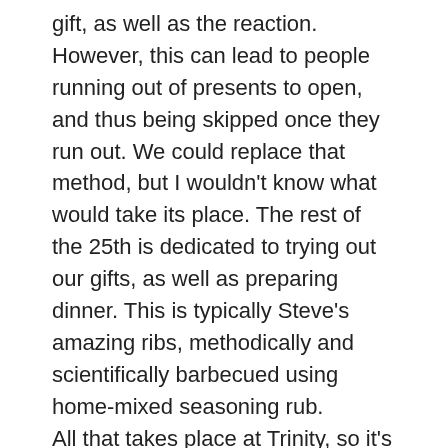gift, as well as the reaction. However, this can lead to people running out of presents to open, and thus being skipped once they run out. We could replace that method, but I wouldn't know what would take its place. The rest of the 25th is dedicated to trying out our gifts, as well as preparing dinner. This is typically Steve's amazing ribs, methodically and scientifically barbecued using home-mixed seasoning rub. All that takes place at Trinity, so it's unusual for the whole thing to be in Auburn this year, on account of my